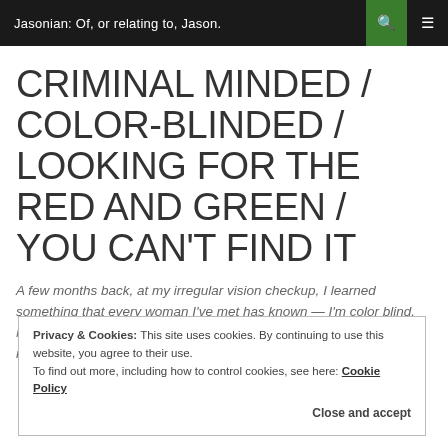Jasonian: Of, or relating to, Jason.
CRIMINAL MINDED / COLOR-BLINDED / LOOKING FOR THE RED AND GREEN / YOU CAN'T FIND IT
A few months back, at my irregular vision checkup, I learned something that every woman I've met has known — I'm color blind. Not severely, mind you, but enough that I'm unable to distinguish the number in the image to the side.
Privacy & Cookies: This site uses cookies. By continuing to use this website, you agree to their use. To find out more, including how to control cookies, see here: Cookie Policy Close and accept